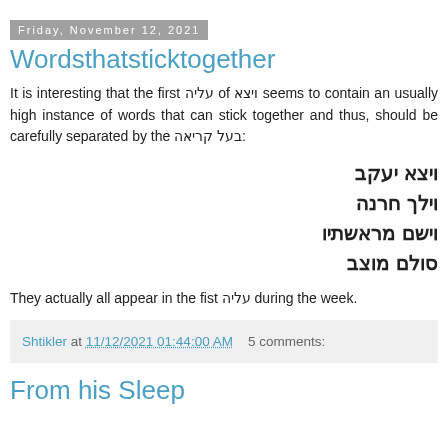Friday, November 12, 2021
Wordsthatsticktogether
It is interesting that the first עליה of ויצא seems to contain an usually high instance of words that can stick together and thus, should be carefully separated by the בעל קריאה:
ויצא יעקב
וילך חרנה
וישם מראשתיו
סולם מוצב
They actually all appear in the fist עליה during the week.
Shtikler at 11/12/2021 01:44:00 AM   5 comments:
From his Sleep